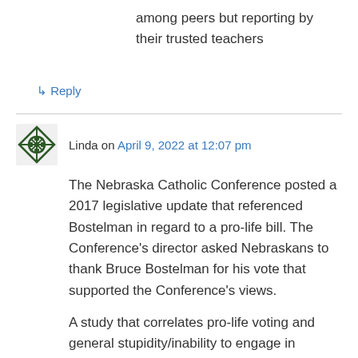among peers but reporting by their trusted teachers
↳ Reply
Linda on April 9, 2022 at 12:07 pm
The Nebraska Catholic Conference posted a 2017 legislative update that referenced Bostelman in regard to a pro-life bill. The Conference's director asked Nebraskans to thank Bruce Bostelman for his vote that supported the Conference's views.
A study that correlates pro-life voting and general stupidity/inability to engage in rational thought would be interesting.